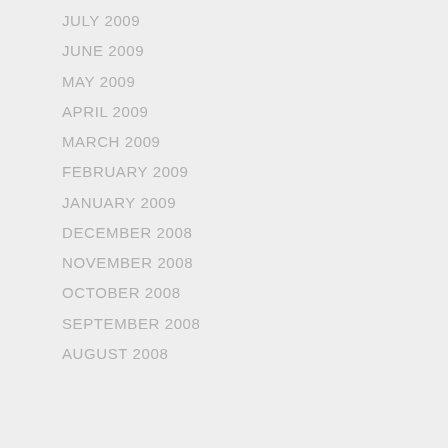JULY 2009
JUNE 2009
MAY 2009
APRIL 2009
MARCH 2009
FEBRUARY 2009
JANUARY 2009
DECEMBER 2008
NOVEMBER 2008
OCTOBER 2008
SEPTEMBER 2008
AUGUST 2008